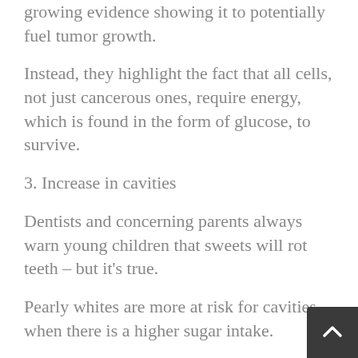growing evidence showing it to potentially fuel tumor growth.
Instead, they highlight the fact that all cells, not just cancerous ones, require energy, which is found in the form of glucose, to survive.
3. Increase in cavities
Dentists and concerning parents always warn young children that sweets will rot teeth – but it's true.
Pearly whites are more at risk for cavities when there is a higher sugar intake.
According to the National Institute of Dental and Craniofacial Research (NICDR), bacteria in the mouth feeds on sugars which creates harmful acids.
These acids then destroy tooth enamel. Cavities are formed by the acids that create a bacterial infection which leaves a hole in the tooth.